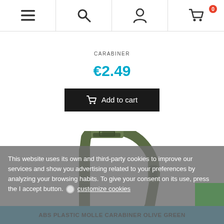Navigation bar with menu, search, account, and cart (0 items) icons
€2.49
Add to cart
[Figure (photo): ABS plastic MOLLE carabiner in olive green color, a D-shaped tactical clip made of dark olive/green plastic]
This website uses its own and third-party cookies to improve our services and show you advertising related to your preferences by analyzing your browsing habits. To give your consent on its use, press the I accept button. customize cookies
ABS PLASTIC MOLLE CARABINER OLIVE GREEN